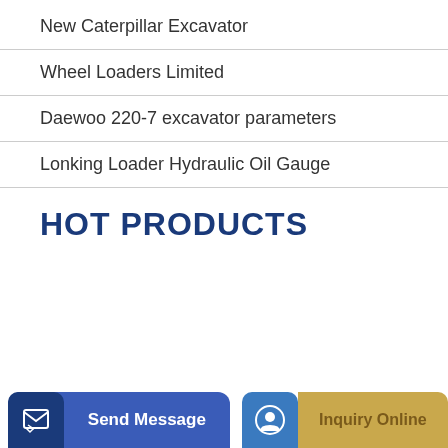New Caterpillar Excavator
Wheel Loaders Limited
Daewoo 220-7 excavator parameters
Lonking Loader Hydraulic Oil Gauge
HOT PRODUCTS
[Figure (other): Send Message button with dark blue icon area on the left and blue button background]
[Figure (other): Inquiry Online button with blue circular icon on the left and gold/tan button background]